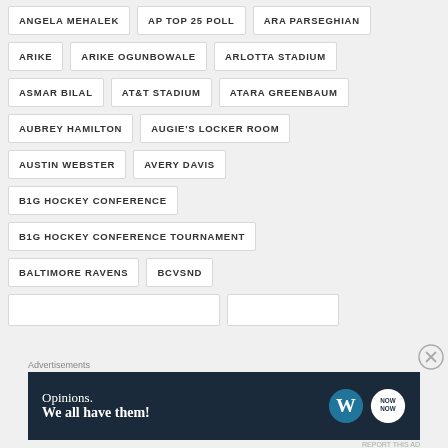ANGELA MEHALEK
AP TOP 25 POLL
ARA PARSEGHIAN
ARIKE
ARIKE OGUNBOWALE
ARLOTTA STADIUM
ASMAR BILAL
AT&T STADIUM
ATARA GREENBAUM
AUBREY HAMILTON
AUGIE'S LOCKER ROOM
AUSTIN WEBSTER
AVERY DAVIS
B1G HOCKEY CONFERENCE
B1G HOCKEY CONFERENCE TOURNAMENT
BALTIMORE RAVENS
BCVSND
Advertisements
[Figure (infographic): WordPress advertisement banner: 'Opinions. We all have them!' with WordPress and NowNow logos on dark navy background]